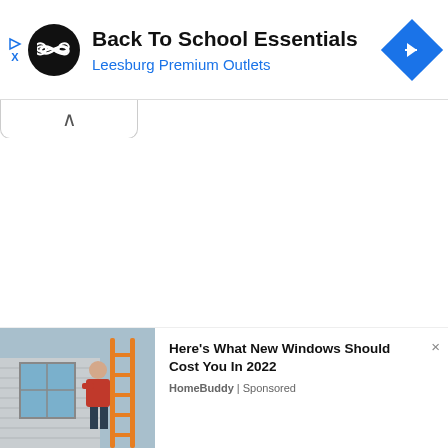[Figure (screenshot): Top advertisement banner: black circular logo with infinity-like symbol, text 'Back To School Essentials' and 'Leesburg Premium Outlets' in blue, blue diamond navigation icon on right]
[Figure (screenshot): Collapse/minimize button bar with upward chevron (^)]
[Figure (screenshot): Bottom advertisement widget with photo of person installing windows on a house using an orange ladder, and text 'Here's What New Windows Should Cost You In 2022' with 'HomeBuddy | Sponsored']